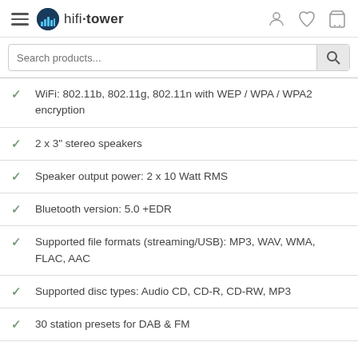hifi tower
WiFi: 802.11b, 802.11g, 802.11n with WEP / WPA / WPA2 encryption
2 x 3" stereo speakers
Speaker output power: 2 x 10 Watt RMS
Bluetooth version: 5.0 +EDR
Supported file formats (streaming/USB): MP3, WAV, WMA, FLAC, AAC
Supported disc types: Audio CD, CD-R, CD-RW, MP3
30 station presets for DAB & FM